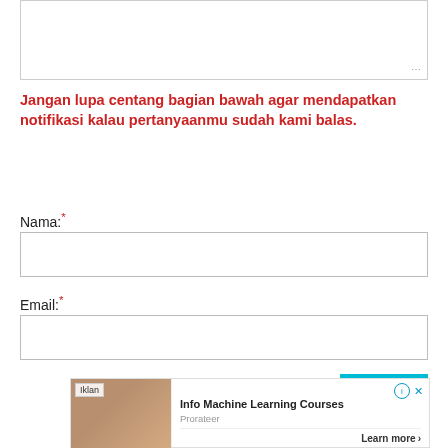[Figure (screenshot): A text area input box with resize handle at bottom right]
Jangan lupa centang bagian bawah agar mendapatkan notifikasi kalau pertanyaanmu sudah kami balas.
Nama:*
[Figure (screenshot): Text input field for Nama (name)]
Email:*
[Figure (screenshot): Text input field for Email]
[Figure (screenshot): Advertisement banner: Info Machine Learning Courses by Prorateer with Learn more button]